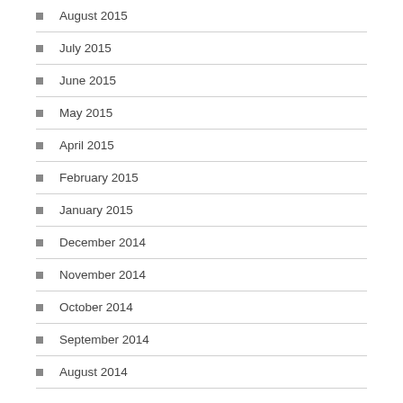August 2015
July 2015
June 2015
May 2015
April 2015
February 2015
January 2015
December 2014
November 2014
October 2014
September 2014
August 2014
CATEGORIES
19th century Madder Fabrics
antique fabric